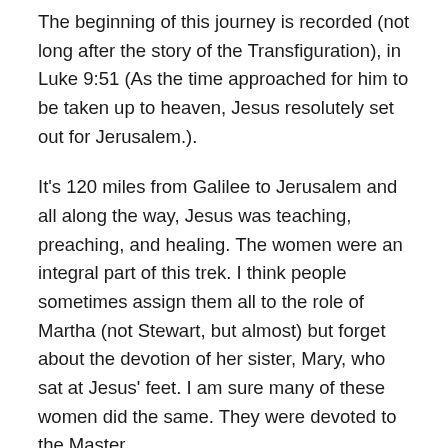The beginning of this journey is recorded (not long after the story of the Transfiguration), in Luke 9:51 (As the time approached for him to be taken up to heaven, Jesus resolutely set out for Jerusalem.).
It's 120 miles from Galilee to Jerusalem and all along the way, Jesus was teaching, preaching, and healing. The women were an integral part of this trek. I think people sometimes assign them all to the role of Martha (not Stewart, but almost) but forget about the devotion of her sister, Mary, who sat at Jesus' feet. I am sure many of these women did the same. They were devoted to the Master.
And these are the women who stayed with Him to the very end. They did not flee. They were steadfast. This is the heritage that we as women believers must remember. This